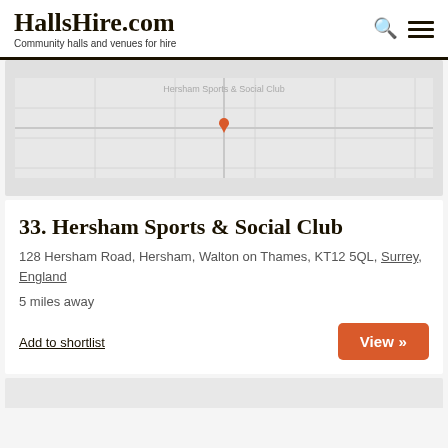HallsHire.com — Community halls and venues for hire
[Figure (map): Embedded map showing location of Hersham Sports & Social Club, with a label 'Hersham Sports & Social Club']
33. Hersham Sports & Social Club
128 Hersham Road, Hersham, Walton on Thames, KT12 5QL, Surrey, England
5 miles away
Add to shortlist
View »